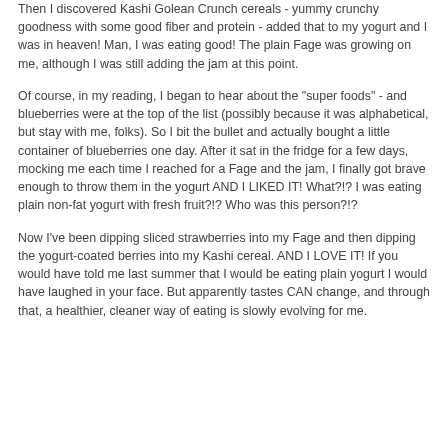Then I discovered Kashi Golean Crunch cereals - yummy crunchy goodness with some good fiber and protein - added that to my yogurt and I was in heaven! Man, I was eating good! The plain Fage was growing on me, although I was still adding the jam at this point.
Of course, in my reading, I began to hear about the "super foods" - and blueberries were at the top of the list (possibly because it was alphabetical, but stay with me, folks). So I bit the bullet and actually bought a little container of blueberries one day. After it sat in the fridge for a few days, mocking me each time I reached for a Fage and the jam, I finally got brave enough to throw them in the yogurt AND I LIKED IT! What?!? I was eating plain non-fat yogurt with fresh fruit?!? Who was this person?!?
Now I've been dipping sliced strawberries into my Fage and then dipping the yogurt-coated berries into my Kashi cereal. AND I LOVE IT! If you would have told me last summer that I would be eating plain yogurt I would have laughed in your face. But apparently tastes CAN change, and through that, a healthier, cleaner way of eating is slowly evolving for me.